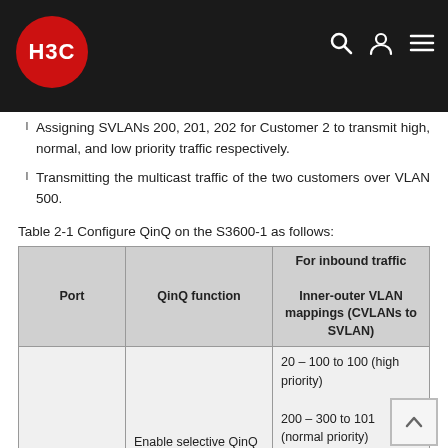H3C [navigation bar]
Assigning SVLANs 200, 201, 202 for Customer 2 to transmit high, normal, and low priority traffic respectively.
Transmitting the multicast traffic of the two customers over VLAN 500.
Table 2-1 Configure QinQ on the S3600-1 as follows:
| Port | QinQ function | For inbound traffic
Inner-outer VLAN mappings (CVLANs to SVLAN) |
| --- | --- | --- |
|  | Enable selective QinQ | 20 – 100 to 100 (high priority)
200 – 300 to 101 (normal priority) |